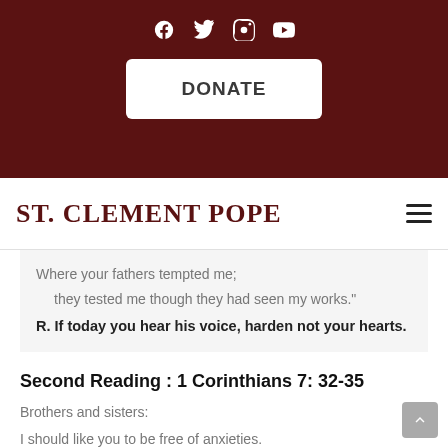[Figure (screenshot): Dark maroon header bar with social media icons (Facebook, Twitter, Instagram, YouTube) and a white DONATE button]
ST. CLEMENT POPE
Where your fathers tempted me;
they tested me though they had seen my works."
R. If today you hear his voice, harden not your hearts.
Second Reading : 1 Corinthians 7: 32-35
Brothers and sisters:
I should like you to be free of anxieties.